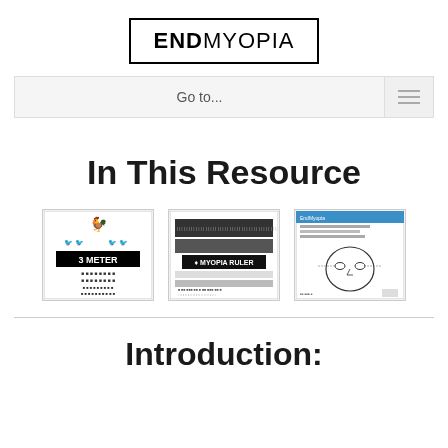[Figure (logo): EndMyopia logo in a rectangular border. Bold text reads ENDMYOPIA.]
[Figure (screenshot): Navigation bar with 'Go to...' text and a hamburger menu icon on the right.]
In This Resource
[Figure (photo): Three thumbnail images side by side: a 3-meter eye chart with rooster and animals, a myopia ruler tool, and a screenshot of a face/eye measurement tool.]
Introduction: